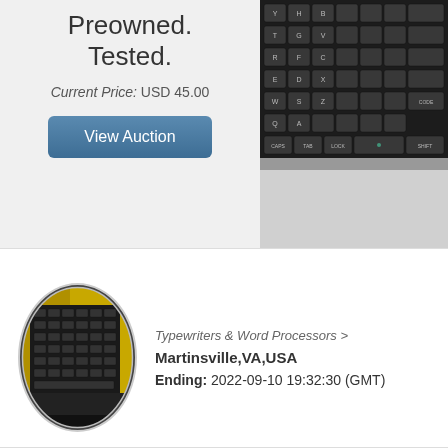Preowned. Tested.
Current Price: USD 45.00
View Auction
[Figure (photo): Close-up photo of a dark laptop keyboard keys]
[Figure (photo): Oval-cropped photo of a typewriter or word processor keyboard with yellow casing]
Typewriters & Word Processors >
Martinsville,VA,USA
Ending: 2022-09-10 19:32:30 (GMT)